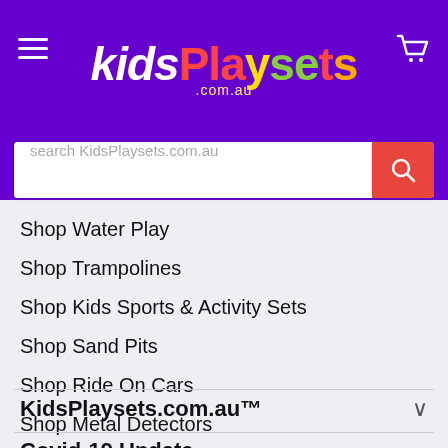[Figure (logo): KidsPlaysets.com.au logo on purple header background with hamburger menu and cart icon]
Shop Water Play
Shop Trampolines
Shop Kids Sports & Activity Sets
Shop Sand Pits
Shop Ride On Cars
Shop Metal Detectors
Shop Kids Games
Shop Musical Play
Shop Kids Furniture
KidsPlaysets.com.au™
Covid-19 Update